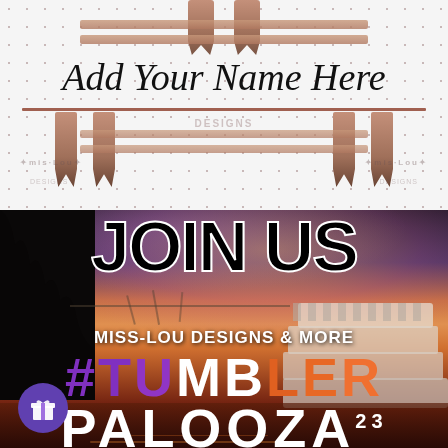[Figure (illustration): Top section with polka dot background showing a hashtag/pound sign graphic made of brown/rose colored bars, with text 'Add Your Name Here' in italic serif font underlined, watermark text overlay, and decorative Miss-Lou branding elements at bottom]
Add Your Name Here
[Figure (photo): Promotional image for Miss-Lou Designs & More Tumbler Palooza 23. Background shows a sunset/dusk cityscape with river, bridge, trees on left, and a riverboat on right. Text overlays: 'JOIN US' in large bold black, 'MISS-LOU DESIGNS & MORE' in white, '#TUMBLER' in purple and orange gradient, 'PALOOZA' in white with superscript '23'. Purple circle gift icon in bottom left corner.]
JOIN US
MISS-LOU DESIGNS & MORE
#TUMBLER
PALOOZA 23